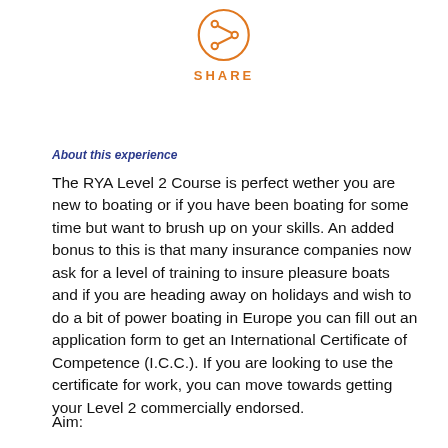[Figure (illustration): Orange circle with a share icon (less-than style arrow with dots) and the word SHARE in orange letters below]
About this experience
The RYA Level 2 Course is perfect wether you are new to boating or if you have been boating for some time but want to brush up on your skills. An added bonus to this is that many insurance companies now ask for a level of training to insure pleasure boats and if you are heading away on holidays and wish to do a bit of power boating in Europe you can fill out an application form to get an International Certificate of Competence (I.C.C.). If you are looking to use the certificate for work, you can move towards getting your Level 2 commercially endorsed.
Aim: